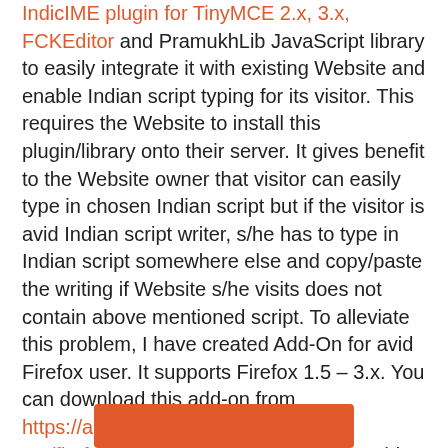IndicIME plugin for TinyMCE 2.x, 3.x, FCKEditor and PramukhLib JavaScript library to easily integrate it with existing Website and enable Indian script typing for its visitor. This requires the Website to install this plugin/library onto their server. It gives benefit to the Website owner that visitor can easily type in chosen Indian script but if the visitor is avid Indian script writer, s/he has to type in Indian script somewhere else and copy/paste the writing if Website s/he visits does not contain above mentioned script. To alleviate this problem, I have created Add-On for avid Firefox user. It supports Firefox 1.5 – 3.x. You can download this add-on from https://addons.mozilla.org/en-US/firefox/addon/10827. Currently this add-on is under review mode so it requires user to login and then download. Click the link below if you want to download from this blog.
[Figure (other): Orange/red button bar at the bottom of the page]